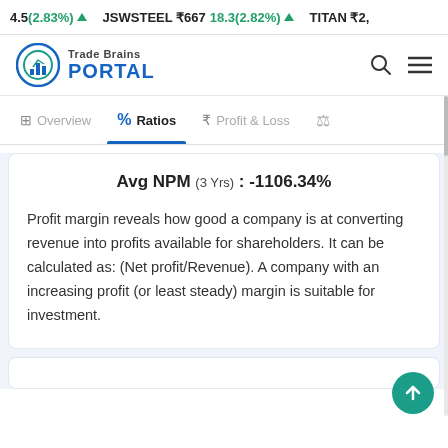4.5(2.83%) ▲ JSWSTEEL ₹667 18.3(2.82%) ▲ TITAN ₹2,
[Figure (logo): Trade Brains Portal logo with circular chart icon and blue PORTAL text]
Overview  %  Ratios  ₹  Profit & Loss  ⚖
Avg NPM (3 Yrs) : -1106.34%
Profit margin reveals how good a company is at converting revenue into profits available for shareholders. It can be calculated as: (Net profit/Revenue). A company with an increasing profit (or least steady) margin is suitable for investment.